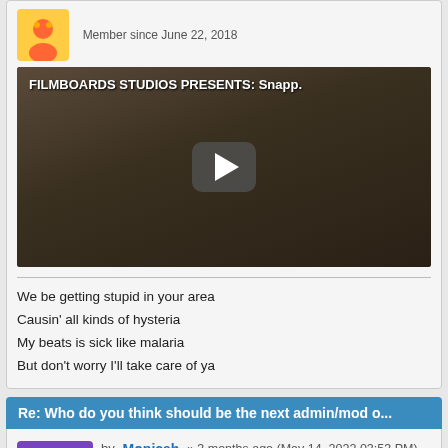Member since June 22, 2018
[Figure (screenshot): Embedded video thumbnail showing 'FILMBOARDS STUDIOS PRESENTS: Snapp...' with a man wearing a dark cap and a play button overlay]
We be getting stupid in your area
Causin' all kinds of hysteria
My beats is sick like malaria
But don't worry I'll take care of ya
Re: Who do you think should be the next admin/mod o...
by Monicah » 3 months ago (May 14, 2022 03:53 PM)
Flag ▼ | Send PM | Reply | ∞
Member since October 6, 2017
I wouldn't feel comfortable with him knowing my ID address